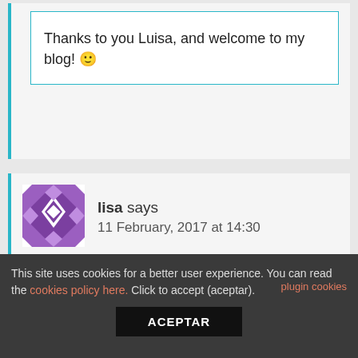Thanks to you Luisa, and welcome to my blog! 🙂
[Figure (illustration): Purple geometric avatar icon with diamond/star quilt pattern]
lisa says
11 February, 2017 at 14:30
Thank you for the post! I am currently in India and trying to decide whether or not to visit Munroe Island vs a
This site uses cookies for a better user experience. You can read the cookies policy here. Click to accept (aceptar). plugin cookies
ACEPTAR